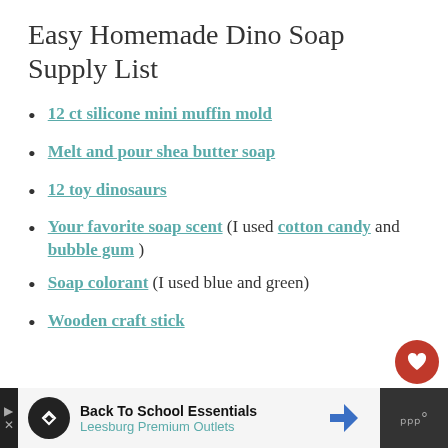Easy Homemade Dino Soap Supply List
12 ct silicone mini muffin mold
Melt and pour shea butter soap
12 toy dinosaurs
Your favorite soap scent (I used cotton candy and bubble gum)
Soap colorant (I used blue and green)
Wooden craft stick
Back To School Essentials Leesburg Premium Outlets